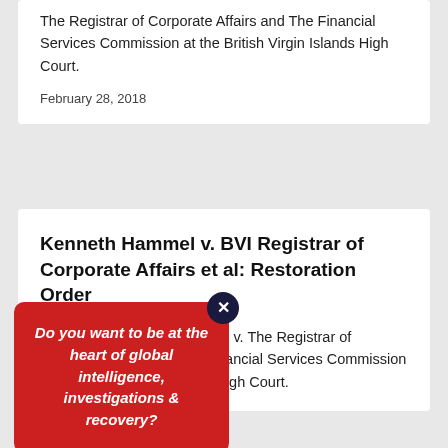The Registrar of Corporate Affairs and The Financial Services Commission at the British Virgin Islands High Court.
February 28, 2018
Kenneth Hammel v. BVI Registrar of Corporate Affairs et al: Restoration Order
Order in Kenneth W. Hammel v. The Registrar of Corporate Affairs and the Financial Services Commission at the British Virgin Islands High Court.
Do you want to be at the heart of global intelligence, investigations & recovery?